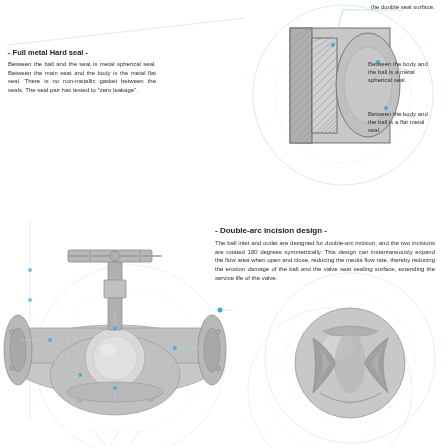[Figure (engineering-diagram): Cross-section technical diagram of valve seal showing double seal surface with hatching, spherical ball, and labeled annotation lines pointing to body-ball interface. Top right portion of page.]
the double seal surface.
- Full metal Hard seal -
Between the ball and the seat is metal spherical seal. Between the main seat and the body is the metal flat seal. There is no non-metallic gasket between the seals. The seal pair has tested to "zero leakage".
Between the body and the ball is a metal spherical seal.
Between the body and the ball is a flat metal seal.
[Figure (engineering-diagram): 3D rendered cutaway view of a full-bore metal-seated ball valve showing the body, stem, handwheel operator, ball, and flanged ends with blue annotation lines and dots.]
- Double-arc incision design -
The ball inlet and outlet are designed for double-arc incision, and the two incisions are rotated 180 degrees symmetrically. This design can instantaneously expand the flow area when open and close, reducing the media flow rate, thereby reducing the erosion damage of the ball and the valve seat sealing surface, extending the service life of the valve.
[Figure (engineering-diagram): 3D rendered close-up view of a metal ball with double-arc incision cuts showing the curved slot design symmetrically rotated 180 degrees, placed inside a circular diagram outline.]